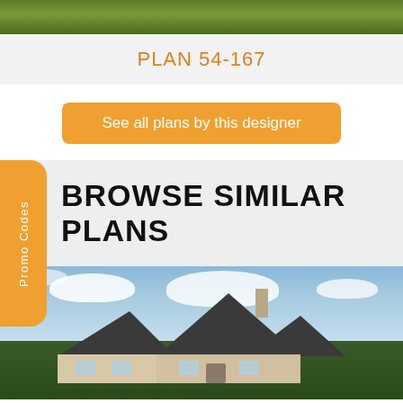[Figure (photo): Top strip showing green landscape/grass area at the top of the page]
PLAN 54-167
See all plans by this designer
BROWSE SIMILAR PLANS
Promo Codes
[Figure (photo): House exterior photo showing a ranch-style home with dark shingled roofs, a chimney, trees and blue cloudy sky in the background]